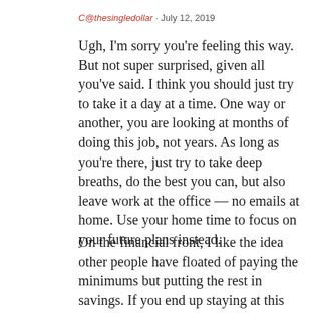C@thesingledollar · July 12, 2019
Ugh, I'm sorry you're feeling this way. But not super surprised, given all you've said. I think you should just try to take it a day at a time. One way or another, you are looking at months of doing this job, not years. As long as you're there, just try to take deep breaths, do the best you can, but also leave work at the office — no emails at home. Use your home time to focus on your future plans instead.
On the financial front, I like the idea other people have floated of paying the minimums but putting the rest in savings. If you end up staying at this job long enough, you can always make a big payoff when you've saved